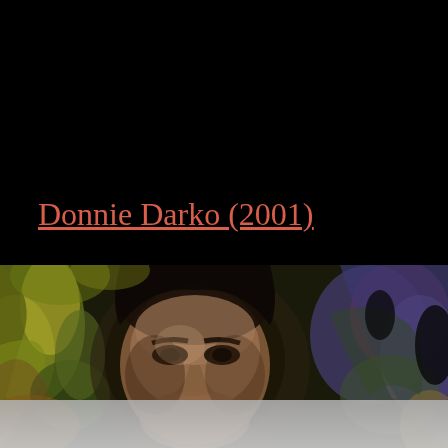Donnie Darko (2001)
[Figure (photo): Movie still from Donnie Darko (2001) showing a young man's face with dark hair, staring intensely at the camera, surrounded by colorful swirling psychedelic background in greens, purples, and yellows.]